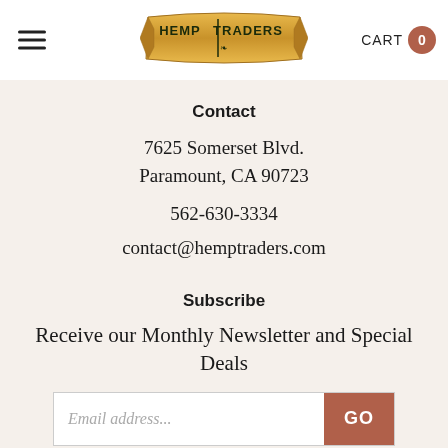[Figure (logo): Hemp Traders logo — golden banner ribbon with bold dark text reading HEMP TRADERS]
Contact
7625 Somerset Blvd.
Paramount, CA 90723
562-630-3334
contact@hemptraders.com
Subscribe
Receive our Monthly Newsletter and Special Deals